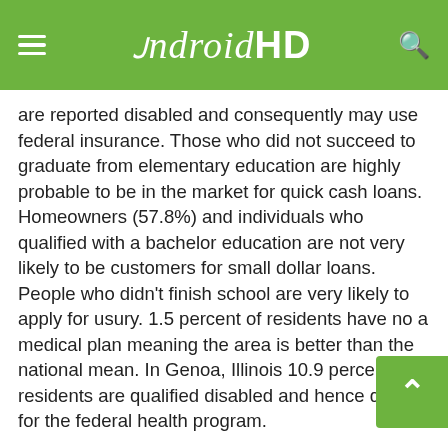AndroidHD
are reported disabled and consequently may use federal insurance. Those who did not succeed to graduate from elementary education are highly probable to be in the market for quick cash loans. Homeowners (57.8%) and individuals who qualified with a bachelor education are not very likely to be customers for small dollar loans. People who didn't finish school are very likely to apply for usury. 1.5 percent of residents have no a medical plan meaning the area is better than the national mean. In Genoa, Illinois 10.9 percent of residents are qualified disabled and hence qualify for the federal health program.
The elderly embody a high 19.9% of the populace, implying Clinton is a retirement spot. Youngsters under 18 years old comprise 23.4 percent of the locals. The birth rate in Clinton is greater than average at 6.6%. The aged consist a routine 15.2 percent of the population, hinting Chester is a demographically unexceptional area. Kids under 18 years of age make up 10.8% of the population. The birth rate in Chester is beneath nationwide norms at